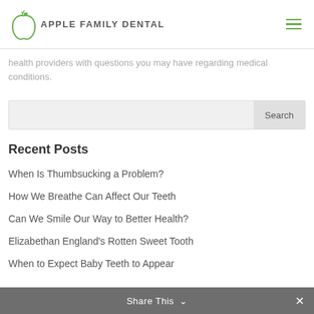Apple Family Dental
health providers with questions you may have regarding medical conditions.
Search
Recent Posts
When Is Thumbsucking a Problem?
How We Breathe Can Affect Our Teeth
Can We Smile Our Way to Better Health?
Elizabethan England's Rotten Sweet Tooth
When to Expect Baby Teeth to Appear
Share This